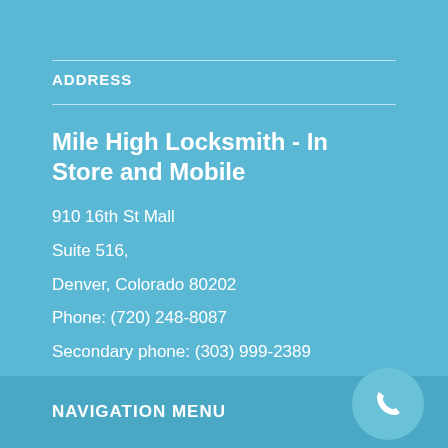ADDRESS
Mile High Locksmith - In Store and Mobile
910 16th St Mall
Suite 516,
Denver, Colorado 80202
Phone: (720) 248-8087
Secondary phone: (303) 999-2389
Email: milehighlocksmithteam@gmail.com
NAVIGATION MENU
[Figure (illustration): White phone handset icon inside a circle]